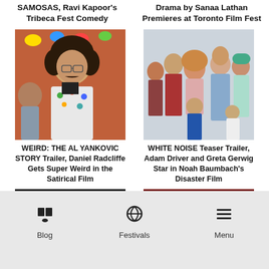SAMOSAS, Ravi Kapoor's Tribeca Fest Comedy
Drama by Sanaa Lathan Premieres at Toronto Film Fest
[Figure (photo): Man with curly hair and mustache wearing a colorful floral jacket, standing in front of orange curtain with colorful decorations]
[Figure (photo): Group of people including children standing together, appearing to be from a movie scene]
WEIRD: THE AL YANKOVIC STORY Trailer, Daniel Radcliffe Gets Super Weird in the Satirical Film
WHITE NOISE Teaser Trailer, Adam Driver and Greta Gerwig Star in Noah Baumbach's Disaster Film
[Figure (photo): Dark scene with a performer on stage, low-light dramatic shot]
[Figure (photo): Dark red-toned dramatic scene with two figures, hands visible]
Blog  Festivals  Menu